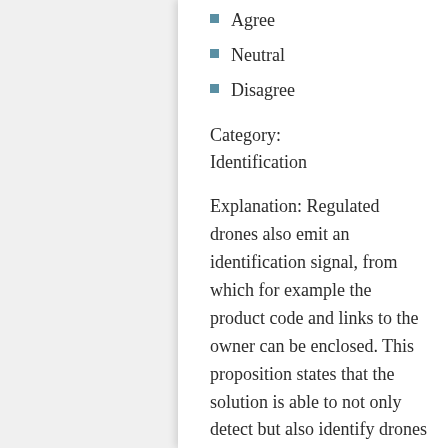Agree
Neutral
Disagree
Category:
Identification
Explanation: Regulated drones also emit an identification signal, from which for example the product code and links to the owner can be enclosed. This proposition states that the solution is able to not only detect but also identify drones that